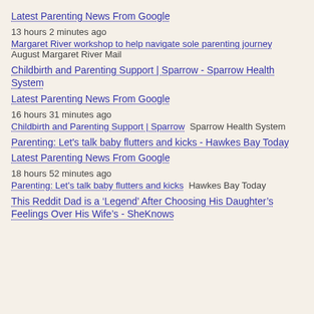Latest Parenting News From Google
13 hours 2 minutes ago
Margaret River workshop to help navigate sole parenting journey  August Margaret River Mail
Childbirth and Parenting Support | Sparrow - Sparrow Health System
Latest Parenting News From Google
16 hours 31 minutes ago
Childbirth and Parenting Support | Sparrow  Sparrow Health System
Parenting: Let's talk baby flutters and kicks - Hawkes Bay Today
Latest Parenting News From Google
18 hours 52 minutes ago
Parenting: Let's talk baby flutters and kicks  Hawkes Bay Today
This Reddit Dad is a ‘Legend’ After Choosing His Daughter’s Feelings Over His Wife’s - SheKnows